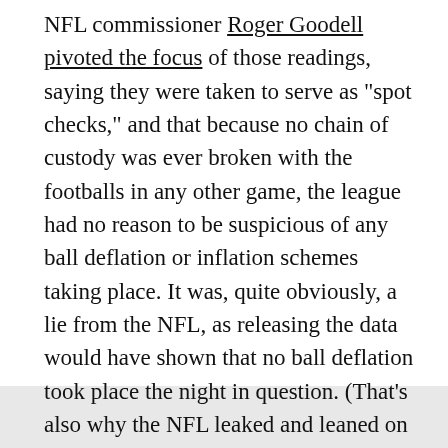NFL commissioner Roger Goodell pivoted the focus of those readings, saying they were taken to serve as "spot checks," and that because no chain of custody was ever broken with the footballs in any other game, the league had no reason to be suspicious of any ball deflation or inflation schemes taking place. It was, quite obviously, a lie from the NFL, as releasing the data would have shown that no ball deflation took place the night in question. (That's also why the NFL leaked and leaned on the destroyed cell phone just prior to announcing the rejection of Tom Brady's appeal, shifting the national focus away from the actual alleged violation in favor of a narrative that could impact public opinion.)